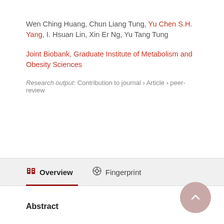Wen Ching Huang, Chun Liang Tung, Yu Chen S.H. Yang, I. Hsuan Lin, Xin Er Ng, Yu Tang Tung
Joint Biobank, Graduate Institute of Metabolism and Obesity Sciences
Research output: Contribution to journal › Article › peer-review
Overview
Fingerprint
Abstract